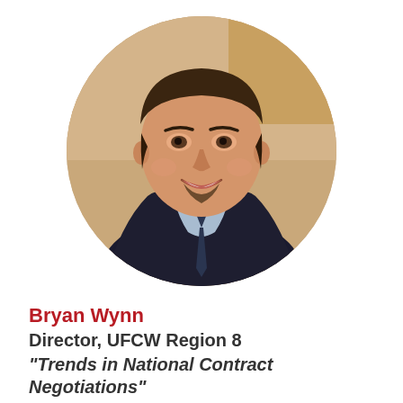[Figure (photo): Circular headshot portrait of Bryan Wynn, a middle-aged man with short dark hair and a goatee, wearing a dark suit jacket, light blue dress shirt, and dark patterned tie, smiling at the camera against a warm blurred background.]
Bryan Wynn
Director, UFCW Region 8
“Trends in National Contract Negotiations”